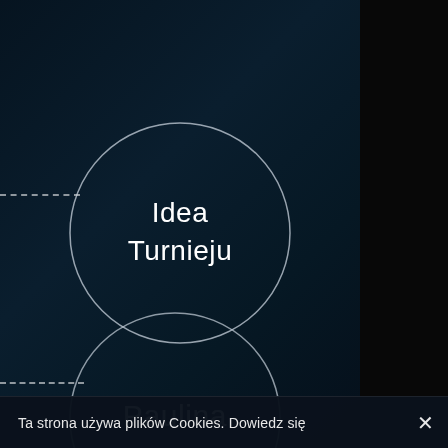[Figure (other): Dark teal-navy background with two circular menu items labeled 'Idea Turnieju' and 'Paulina', each circle outlined in white/silver, with dashed lines extending left from each circle. Right side has a dark black panel.]
Ta strona używa plików Cookies. Dowiedz się
×